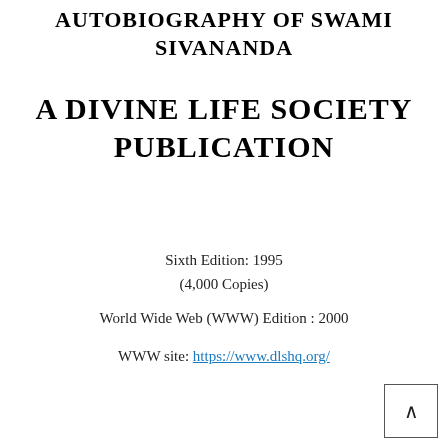AUTOBIOGRAPHY OF SWAMI SIVANANDA
A DIVINE LIFE SOCIETY PUBLICATION
Sixth Edition: 1995
(4,000 Copies)
World Wide Web (WWW) Edition : 2000
WWW site: https://www.dlshq.org/